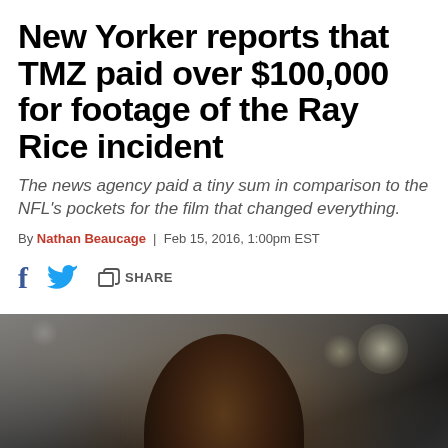New Yorker reports that TMZ paid over $100,000 for footage of the Ray Rice incident
The news agency paid a tiny sum in comparison to the NFL's pockets for the film that changed everything.
By Nathan Beaucage | Feb 15, 2016, 1:00pm EST
[Figure (photo): Blurred close-up photo of a dark-skinned man's face/head, shot from slightly below, with bokeh background lighting]